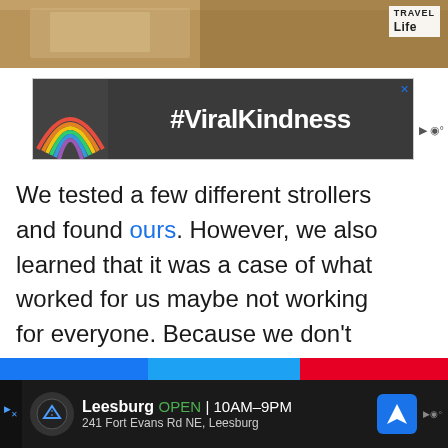[Figure (photo): Top photo strip showing a warm-toned interior scene with a Travel Life badge in top right corner]
[Figure (infographic): Advertisement banner with dark background showing a chalk rainbow on asphalt and text #ViralKindness in white bold font]
We tested a few different strollers and found ours. However, we also learned that it was a case of what worked for us maybe not working for everyone. Because we don't have a huge car, we can't take the jogging stroller on trips because of the huge wheel. We've test-ridden some that double as a car seat, which might work for you, too!
[Figure (infographic): Bottom advertisement for Leesburg store showing OPEN 10AM-9PM, 241 Fort Evans Rd NE, Leesburg with navigation icon]